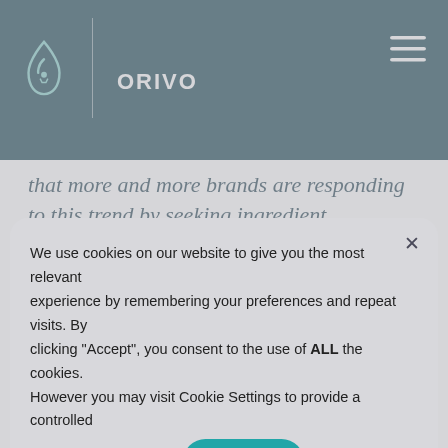ORIVO
that more and more brands are responding to this trend by seeking ingredient producers that can back up their paper-based documentation with actual evidence such as
We use cookies on our website to give you the most relevant experience by remembering your preferences and repeat visits. By clicking “Accept”, you consent to the use of ALL the cookies. However you may visit Cookie Settings to provide a controlled consent. Read More
REJECT
ACCEPT
Cookie settings